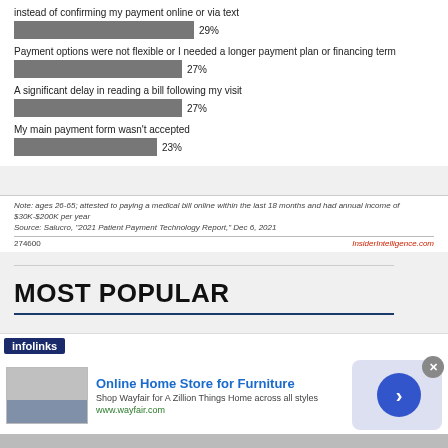[Figure (bar-chart): Reasons patients had difficulty paying medical bills online]
Note: ages 26-65; attested to paying a medical bill online within the last 18 months and had annual income of $30K-$200K per year
Source: Salucro, "2021 Patient Payment Technology Report," Dec 6, 2021
274600    InsiderIntelligence.com
MOST POPULAR
DeliverHealth Exec Talks Combatting
[Figure (screenshot): Advertisement overlay: infolinks bar with Wayfair Online Home Store for Furniture ad]